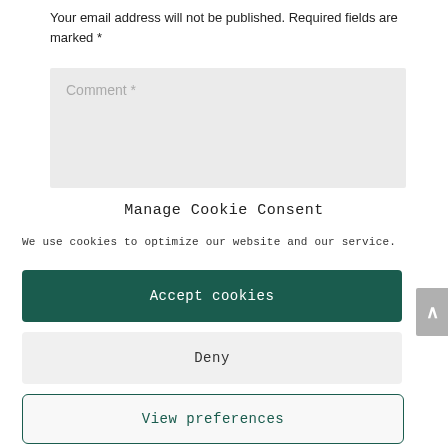Your email address will not be published. Required fields are marked *
[Figure (screenshot): Comment text input box with placeholder text 'Comment *']
Manage Cookie Consent
We use cookies to optimize our website and our service.
Accept cookies
Deny
View preferences